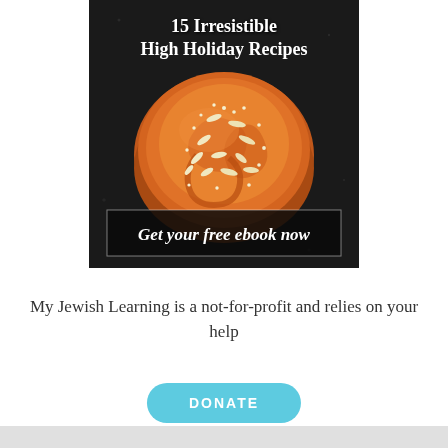[Figure (illustration): Advertisement banner for a free ebook titled '15 Irresistible High Holiday Recipes' featuring a round braided challah bread with seeds on a dark background, with a call-to-action box reading 'Get your free ebook now']
My Jewish Learning is a not-for-profit and relies on your help
DONATE